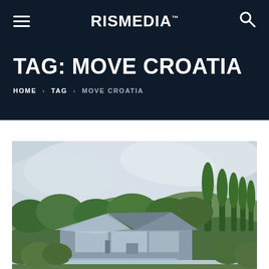RisMedia
TAG: MOVE CROATIA
HOME > TAG > MOVE CROATIA
[Figure (photo): Modern angular luxury villa with geometric roof design, surrounded by lush green forest and cypress trees on a hillside, with a pale cloudy sky in the background.]